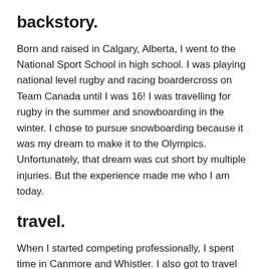backstory.
Born and raised in Calgary, Alberta, I went to the National Sport School in high school. I was playing national level rugby and racing boardercross on Team Canada until I was 16! I was travelling for rugby in the summer and snowboarding in the winter. I chose to pursue snowboarding because it was my dream to make it to the Olympics. Unfortunately, that dream was cut short by multiple injuries. But the experience made me who I am today.
travel.
When I started competing professionally, I spent time in Canmore and Whistler. I also got to travel the world, snowboarding in Europe, Argentina, Chile, and North and South America. I still love checking out places I've never been.